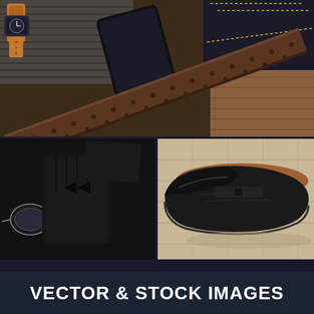[Figure (photo): Top photo: flat lay of men's fashion accessories including a leather wristwatch with tan strap, smartphone, dark jeans with gold stitching, a brown perforated leather belt, and a brown leather shoe, arranged on a textured surface.]
[Figure (photo): Bottom-left photo: dark fashion accessories including a black bow tie, black leather gloves, sunglasses, and a black wallet or card holder on a dark background.]
[Figure (photo): Bottom-right photo: close-up of a classic black leather penny loafer dress shoe on a light wooden surface.]
VECTOR & STOCK IMAGES